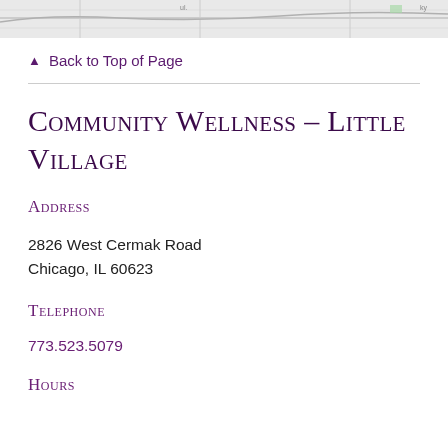[Figure (map): Partial street map screenshot shown at top of page]
▲ Back to Top of Page
Community Wellness – Little Village
Address
2826 West Cermak Road
Chicago, IL 60623
Telephone
773.523.5079
Hours